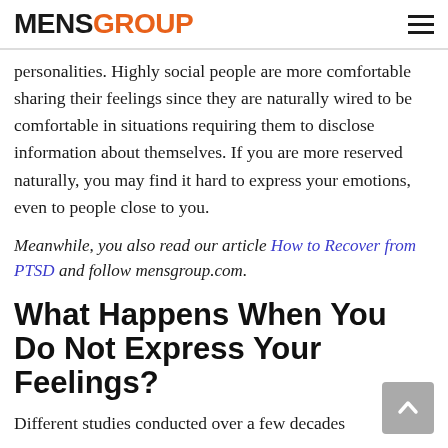MENSGROUP
personalities. Highly social people are more comfortable sharing their feelings since they are naturally wired to be comfortable in situations requiring them to disclose information about themselves. If you are more reserved naturally, you may find it hard to express your emotions, even to people close to you.
Meanwhile, you also read our article How to Recover from PTSD and follow mensgroup.com.
What Happens When You Do Not Express Your Feelings?
Different studies conducted over a few decades